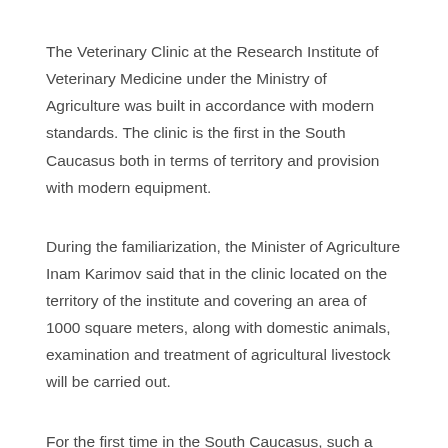The Veterinary Clinic at the Research Institute of Veterinary Medicine under the Ministry of Agriculture was built in accordance with modern standards. The clinic is the first in the South Caucasus both in terms of territory and provision with modern equipment.
During the familiarization, the Minister of Agriculture Inam Karimov said that in the clinic located on the territory of the institute and covering an area of 1000 square meters, along with domestic animals, examination and treatment of agricultural livestock will be carried out.
For the first time in the South Caucasus, such a large veterinary clinic equipped with modern equipment is being commissioned.